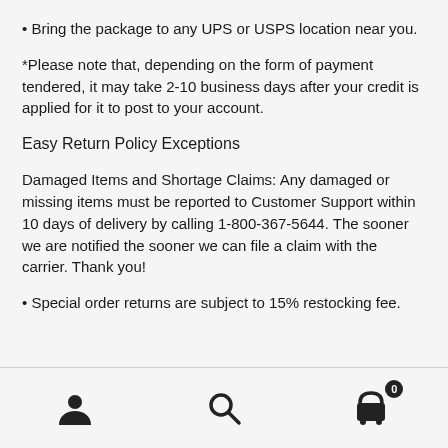• Bring the package to any UPS or USPS location near you.
*Please note that, depending on the form of payment tendered, it may take 2-10 business days after your credit is applied for it to post to your account.
Easy Return Policy Exceptions
Damaged Items and Shortage Claims: Any damaged or missing items must be reported to Customer Support within 10 days of delivery by calling 1-800-367-5644. The sooner we are notified the sooner we can file a claim with the carrier. Thank you!
• Special order returns are subject to 15% restocking fee.
[user icon] [search icon] [cart icon with badge 0]